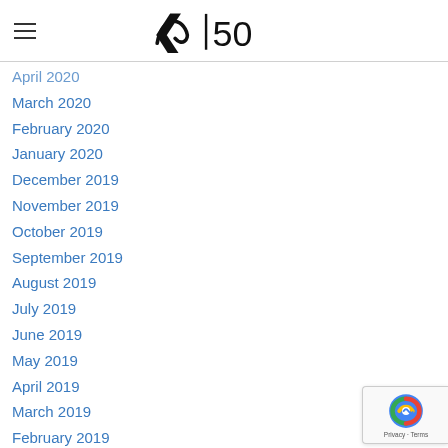≺|50
April 2020
March 2020
February 2020
January 2020
December 2019
November 2019
October 2019
September 2019
August 2019
July 2019
June 2019
May 2019
April 2019
March 2019
February 2019
January 2019
December 2018
November 2018